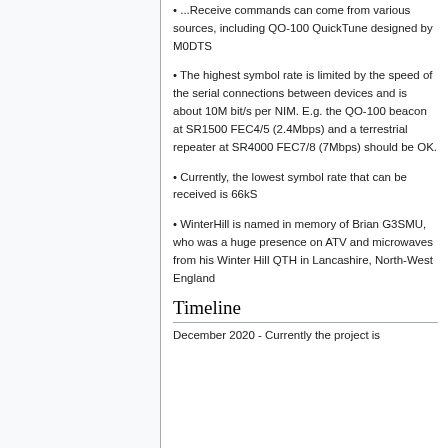Receive commands can come from various sources, including QO-100 QuickTune designed by M0DTS
The highest symbol rate is limited by the speed of the serial connections between devices and is about 10M bit/s per NIM. E.g. the QO-100 beacon at SR1500 FEC4/5 (2.4Mbps) and a terrestrial repeater at SR4000 FEC7/8 (7Mbps) should be OK.
Currently, the lowest symbol rate that can be received is 66kS
WinterHill is named in memory of Brian G3SMU, who was a huge presence on ATV and microwaves from his Winter Hill QTH in Lancashire, North-West England
Timeline
December 2020 - Currently the project is